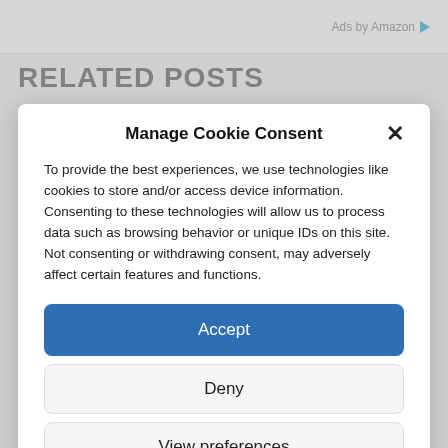Ads by Amazon
RELATED POSTS
Manage Cookie Consent
To provide the best experiences, we use technologies like cookies to store and/or access device information. Consenting to these technologies will allow us to process data such as browsing behavior or unique IDs on this site. Not consenting or withdrawing consent, may adversely affect certain features and functions.
Accept
Deny
View preferences
Cookie Policy   Privacy Policy